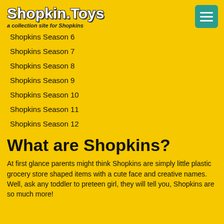Shopkin.Toys — a collection site for Shopkins
Shopkins Season 6
Shopkins Season 7
Shopkins Season 8
Shopkins Season 9
Shopkins Season 10
Shopkins Season 11
Shopkins Season 12
What are Shopkins?
At first glance parents might think Shopkins are simply little plastic grocery store shaped items with a cute face and creative names. Well, ask any toddler to preteen girl, they will tell you, Shopkins are so much more!